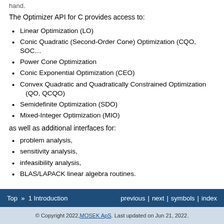hand.
The Optimizer API for C provides access to:
Linear Optimization (LO)
Conic Quadratic (Second-Order Cone) Optimization (CQO, SOC…)
Power Cone Optimization
Conic Exponential Optimization (CEO)
Convex Quadratic and Quadratically Constrained Optimization (QO, QCQO)
Semidefinite Optimization (SDO)
Mixed-Integer Optimization (MIO)
as well as additional interfaces for:
problem analysis,
sensitivity analysis,
infeasibility analysis,
BLAS/LAPACK linear algebra routines.
Top » 1 Introduction   previous | next | symbols | index
© Copyright 2022, MOSEK ApS. Last updated on Jun 21, 2022.